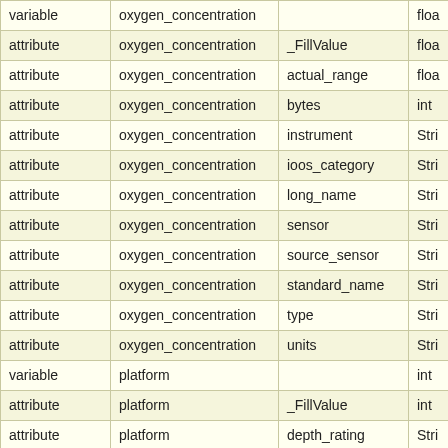|  | variable/attribute | attribute name | type |
| --- | --- | --- | --- |
| variable | oxygen_concentration |  | floa |
| attribute | oxygen_concentration | _FillValue | floa |
| attribute | oxygen_concentration | actual_range | floa |
| attribute | oxygen_concentration | bytes | int |
| attribute | oxygen_concentration | instrument | Stri |
| attribute | oxygen_concentration | ioos_category | Stri |
| attribute | oxygen_concentration | long_name | Stri |
| attribute | oxygen_concentration | sensor | Stri |
| attribute | oxygen_concentration | source_sensor | Stri |
| attribute | oxygen_concentration | standard_name | Stri |
| attribute | oxygen_concentration | type | Stri |
| attribute | oxygen_concentration | units | Stri |
| variable | platform |  | int |
| attribute | platform | _FillValue | int |
| attribute | platform | depth_rating | Stri |
| attribute | platform | glider_type | Stri |
| attribute | platform | id | Stri |
| attribute | platform | instrument | Stri |
| attribute | platform | ioos_category | Stri |
| attribute | platform | long_name | Stri |